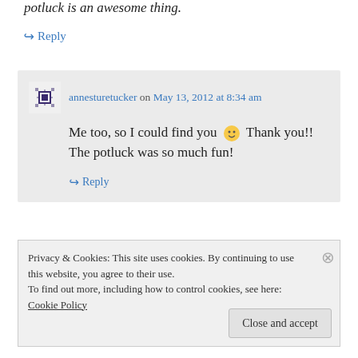potluck is an awesome thing.
↪ Reply
annesturetucker on May 13, 2012 at 8:34 am
Me too, so I could find you 🙂 Thank you!! The potluck was so much fun!
↪ Reply
Privacy & Cookies: This site uses cookies. By continuing to use this website, you agree to their use. To find out more, including how to control cookies, see here: Cookie Policy
Close and accept